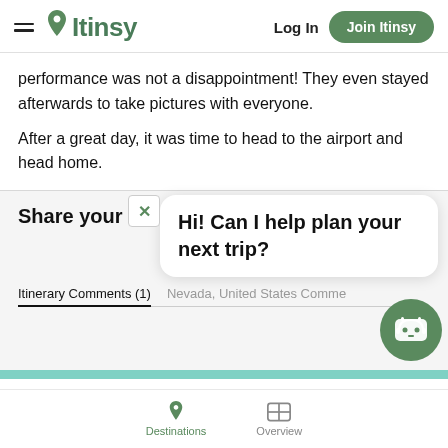Itinsy | Log In | Join Itinsy
performance was not a disappointment! They even stayed afterwards to take pictures with everyone.
After a great day, it was time to head to the airport and head home.
Share your thoughts
[Figure (screenshot): Chat popup overlay with close button (x) and message: Hi! Can I help plan your next trip?]
Itinerary Comments (1)	Nevada, United States Comme…
Destinations | Overview